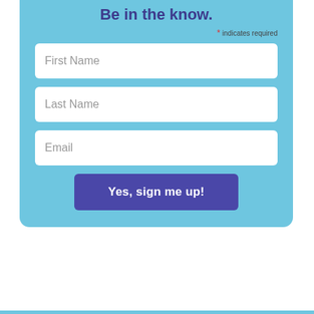Be in the know.
* indicates required
First Name
Last Name
Email
Yes, sign me up!